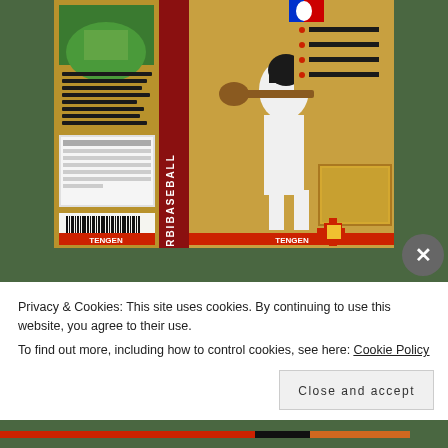[Figure (photo): NES baseball game cartridge box art from Tengen, showing a baseball field and a batter swinging, with gold and red color scheme]
[Figure (screenshot): Jetpack WordPress backup plugin advertisement with dark green background, Jetpack logo, tagline 'The best real-time WordPress backup plugin', and a 'Back up your site' button]
Privacy & Cookies: This site uses cookies. By continuing to use this website, you agree to their use.
To find out more, including how to control cookies, see here: Cookie Policy
Close and accept